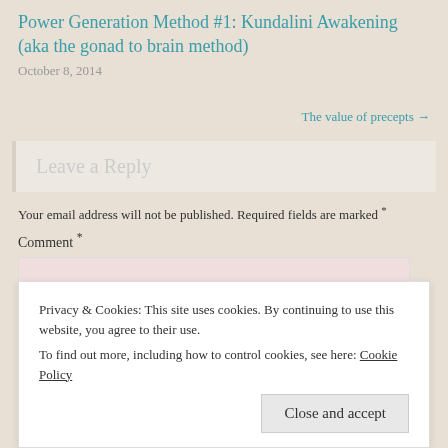Power Generation Method #1: Kundalini Awakening (aka the gonad to brain method)
October 8, 2014
The value of precepts →
Leave a Reply
Your email address will not be published. Required fields are marked *
Comment *
Privacy & Cookies: This site uses cookies. By continuing to use this website, you agree to their use.
To find out more, including how to control cookies, see here: Cookie Policy
Close and accept